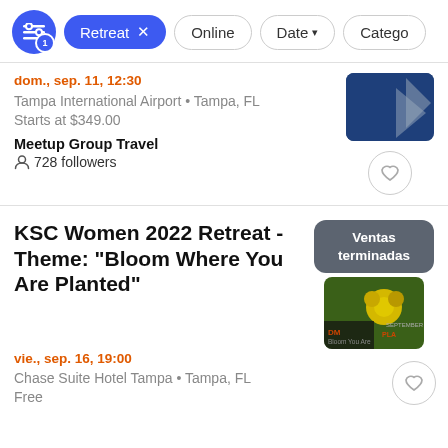[Figure (screenshot): Filter bar with active Retreat filter pill, Online pill, Date dropdown, and partial Category dropdown]
dom., sep. 11, 12:30
Tampa International Airport • Tampa, FL
Starts at $349.00
Meetup Group Travel
728 followers
KSC Women 2022 Retreat - Theme: "Bloom Where You Are Planted"
vie., sep. 16, 19:00
Chase Suite Hotel Tampa • Tampa, FL
Free